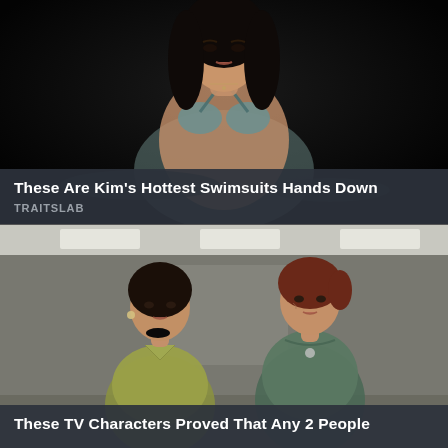[Figure (photo): Woman in teal/grey bikini in dark water setting, posed looking at camera]
These Are Kim's Hottest Swimsuits Hands Down
TRAITSLAB
[Figure (photo): Two women in vintage-style clothing standing in an office hallway — one in olive/yellow blouse, one in dark teal dress]
These TV Characters Proved That Any 2 People